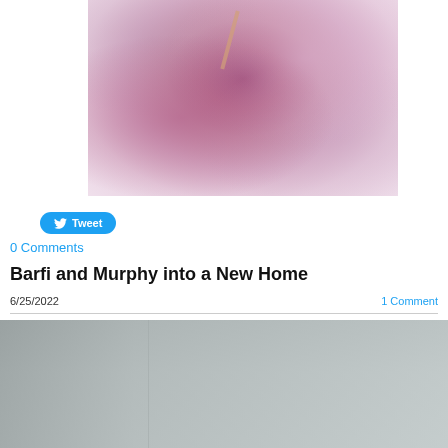[Figure (photo): Close-up photo of newborn animals nestled in soft purple-pink fur/bedding material with straw]
Tweet
0 Comments
Barfi and Murphy into a New Home
6/25/2022
1 Comment
[Figure (photo): Photo of a room with gray walls, partially visible]